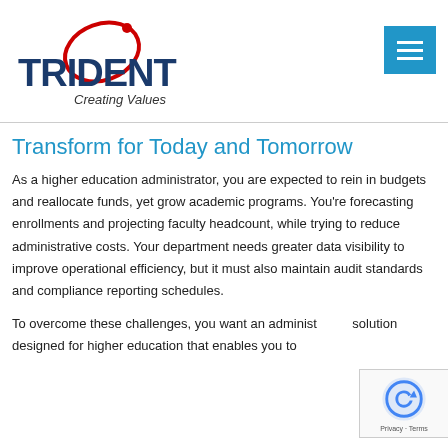[Figure (logo): Trident Creating Values logo with red orbit graphic and blue bold TRIDENT text]
Transform for Today and Tomorrow
As a higher education administrator, you are expected to rein in budgets and reallocate funds, yet grow academic programs. You're forecasting enrollments and projecting faculty headcount, while trying to reduce administrative costs. Your department needs greater data visibility to improve operational efficiency, but it must also maintain audit standards and compliance reporting schedules.
To overcome these challenges, you want an administrative solution designed for higher education that enables you to